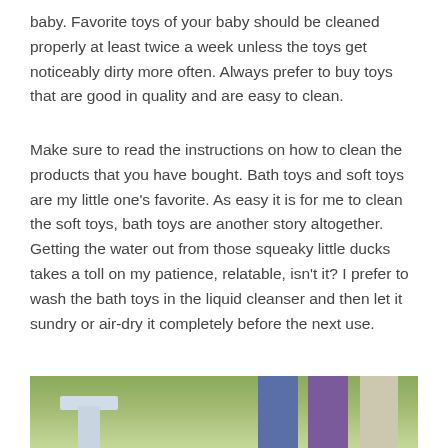baby. Favorite toys of your baby should be cleaned properly at least twice a week unless the toys get noticeably dirty more often. Always prefer to buy toys that are good in quality and are easy to clean.
Make sure to read the instructions on how to clean the products that you have bought. Bath toys and soft toys are my little one’s favorite. As easy it is for me to clean the soft toys, bath toys are another story altogether. Getting the water out from those squeaky little ducks takes a toll on my patience, relatable, isn’t it? I prefer to wash the bath toys in the liquid cleanser and then let it sundry or air-dry it completely before the next use.
[Figure (photo): Photo showing outdoor scene with green background and objects including a white T-shaped toy and colored rectangular blocks (blue, purple, light beige)]